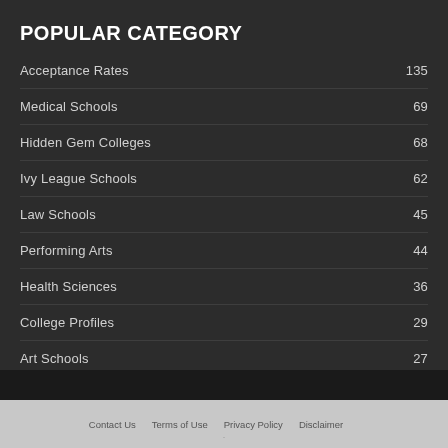POPULAR CATEGORY
Acceptance Rates 135
Medical Schools 69
Hidden Gem Colleges 68
Ivy League Schools 62
Law Schools 45
Performing Arts 44
Health Sciences 36
College Profiles 29
Art Schools 27
Contact Us   Terms of Use   Privacy Policy   Disclaimer